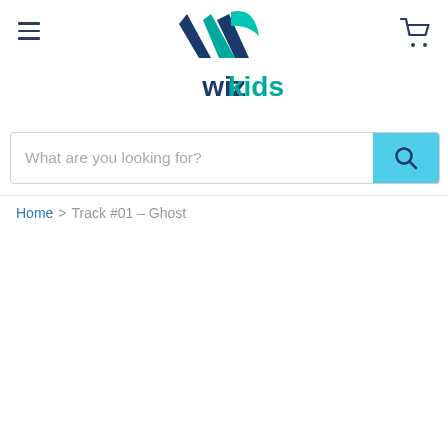WizKids header with hamburger menu, logo, and cart icon
[Figure (logo): WizKids logo with stylized W made of blue and teal arrow shapes above the text 'wizkids' in dark blue and teal]
What are you looking for?
Home > Track #01 - Ghost